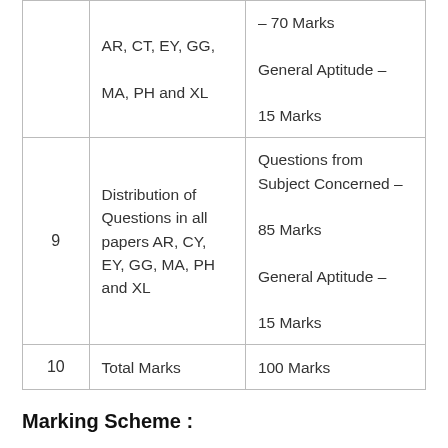|  | Distribution | Marks |
| --- | --- | --- |
|  | AR, CT, EY, GG, MA, PH and XL | – 70 Marks
General Aptitude – 15 Marks |
| 9 | Distribution of Questions in all papers AR, CY, EY, GG, MA, PH and XL | Questions from Subject Concerned – 85 Marks
General Aptitude – 15 Marks |
| 10 | Total Marks | 100 Marks |
Marking Scheme :
The questions will be worth 1 or 2 marks.
1/3 marks will be deducted for the